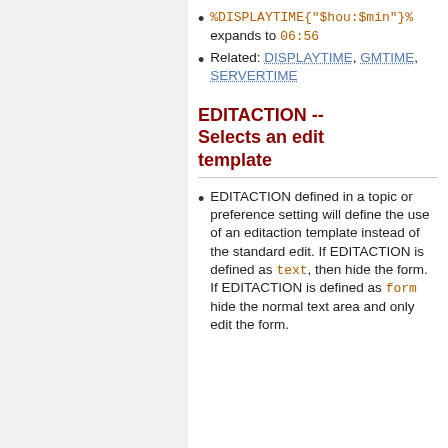%DISPLAYTIME{"$hou:$min"}% expands to 06:56
Related: DISPLAYTIME, GMTIME, SERVERTIME
EDITACTION -- Selects an edit template
EDITACTION defined in a topic or preference setting will define the use of an editaction template instead of the standard edit. If EDITACTION is defined as text, then hide the form. If EDITACTION is defined as form hide the normal text area and only edit the form.